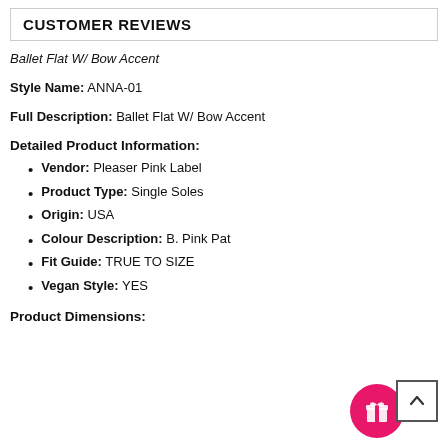CUSTOMER REVIEWS
Ballet Flat W/ Bow Accent
Style Name: ANNA-01
Full Description: Ballet Flat W/ Bow Accent
Detailed Product Information:
Vendor: Pleaser Pink Label
Product Type: Single Soles
Origin: USA
Colour Description: B. Pink Pat
Fit Guide: TRUE TO SIZE
Vegan Style: YES
Product Dimensions: